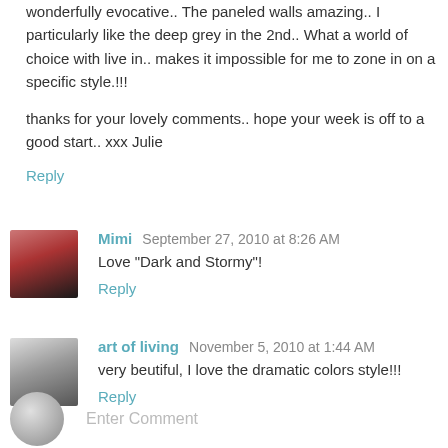wonderfully evocative.. The paneled walls amazing.. I particularly like the deep grey in the 2nd.. What a world of choice with live in.. makes it impossible for me to zone in on a specific style.!!!
thanks for your lovely comments.. hope your week is off to a good start.. xxx Julie
Reply
Mimi  September 27, 2010 at 8:26 AM
Love "Dark and Stormy"!
Reply
art of living  November 5, 2010 at 1:44 AM
very beutiful, I love the dramatic colors style!!!
Reply
Enter Comment